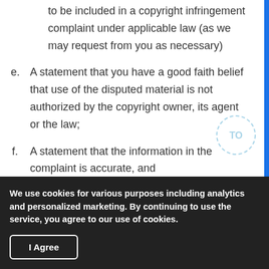to be included in a copyright infringement complaint under applicable law (as we may request from you as necessary)
e. A statement that you have a good faith belief that use of the disputed material is not authorized by the copyright owner, its agent or the law;
f. A statement that the information in the complaint is accurate, and
We use cookies for various purposes including analytics and personalized marketing. By continuing to use the service, you agree to our use of cookies.
I Agree